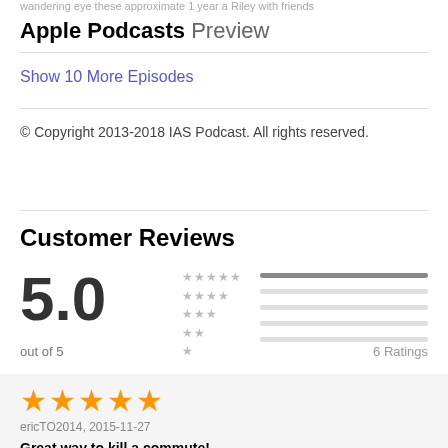wandering eye these approximate 1 year a Riley with friends
Apple Podcasts Preview
Show 10 More Episodes
© Copyright 2013-2018 IAS Podcast. All rights reserved.
Customer Reviews
[Figure (infographic): Rating display showing 5.0 out of 5 with a star-pyramid histogram and 6 Ratings label]
[Figure (infographic): 5 orange stars review rating]
ericTO2014, 2015-11-27
Great way to kill a commute!
Greg Shannon has always been a favourite of mine, and the way he melds his award-winning broadcast experience